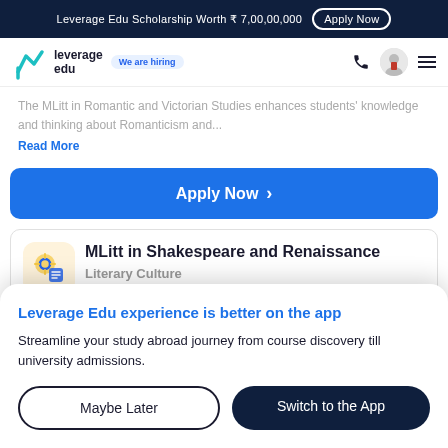Leverage Edu Scholarship Worth ₹ 7,00,00,000  Apply Now
[Figure (logo): Leverage Edu logo with teal chevron icon and 'We are hiring' badge]
The MLitt in Romantic and Victorian Studies enhances students' knowledge and thinking about Romanticism and...
Read More
Apply Now >
MLitt in Shakespeare and Renaissance Literary Culture
Leverage Edu experience is better on the app
Streamline your study abroad journey from course discovery till university admissions.
Maybe Later
Switch to the App